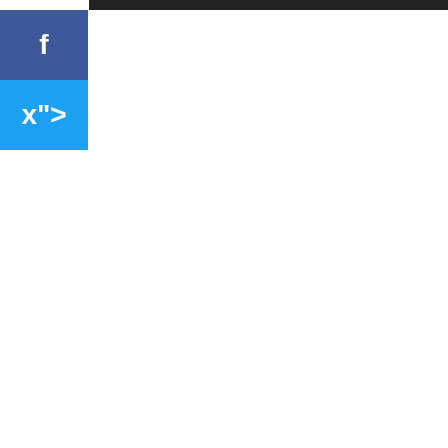[Figure (photo): Dark image strip at top of page]
At one point, Engelbrecht discussed the “fateful moment” when she turned to Philips and asked, “How do we take down a cartel?”
“That’s when we began to use the terms like stash houses, and drop points, and mules, and trafficking, and voter abuse because that’s what we’re looking at,” she said — terms used by federal prosecutors when they are pursuing organized crime investigations under existing RICO statutes.
A press release put out by the organization noted:
True the Vote spent $2 million to buy publicly available cell phone data that can pinpoint an